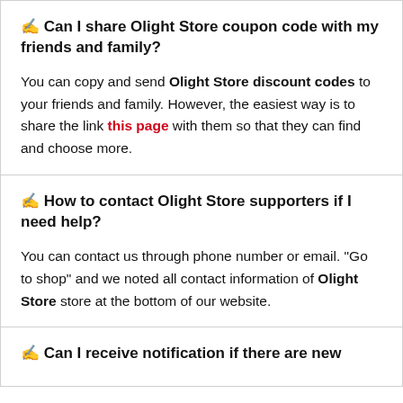✍ Can I share Olight Store coupon code with my friends and family?
You can copy and send Olight Store discount codes to your friends and family. However, the easiest way is to share the link this page with them so that they can find and choose more.
✍ How to contact Olight Store supporters if I need help?
You can contact us through phone number or email. "Go to shop" and we noted all contact information of Olight Store store at the bottom of our website.
✍ Can I receive notification if there are new